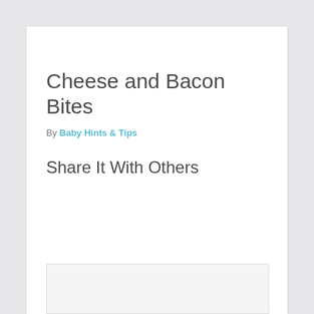Cheese and Bacon Bites
By Baby Hints & Tips
Share It With Others
[Figure (photo): Partial image placeholder at bottom of card]